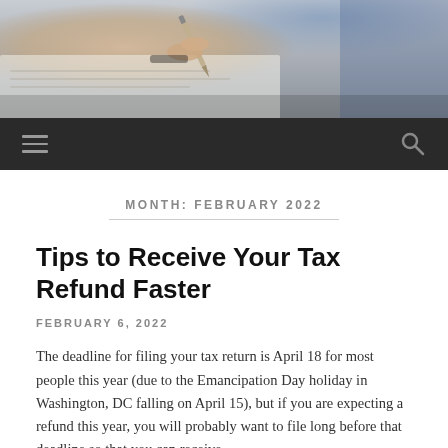[Figure (photo): Close-up photo of a person's hand holding a pen over papers, with another person partially visible in the background. Serves as a decorative banner image for a tax-related article.]
≡   🔍
MONTH: FEBRUARY 2022
Tips to Receive Your Tax Refund Faster
FEBRUARY 6, 2022
The deadline for filing your tax return is April 18 for most people this year (due to the Emancipation Day holiday in Washington, DC falling on April 15), but if you are expecting a refund this year, you will probably want to file long before that deadline so that you can receive